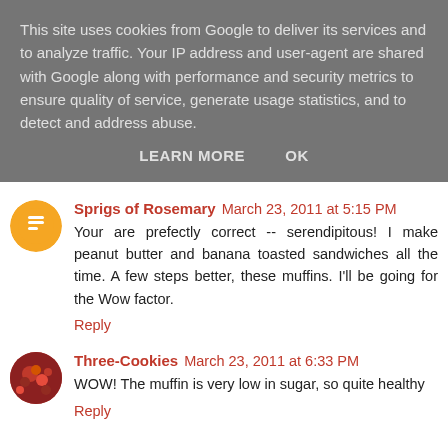This site uses cookies from Google to deliver its services and to analyze traffic. Your IP address and user-agent are shared with Google along with performance and security metrics to ensure quality of service, generate usage statistics, and to detect and address abuse.
LEARN MORE   OK
Sprigs of Rosemary  March 23, 2011 at 5:15 PM
Your are prefectly correct -- serendipitous! I make peanut butter and banana toasted sandwiches all the time. A few steps better, these muffins. I'll be going for the Wow factor.
Reply
Three-Cookies  March 23, 2011 at 6:33 PM
WOW! The muffin is very low in sugar, so quite healthy
Reply